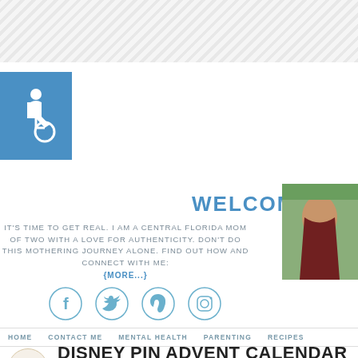[Figure (other): Diagonal hatched pattern stripe at the top of the page]
[Figure (logo): Accessibility icon (wheelchair symbol) on blue square background]
WELCOME!
IT'S TIME TO GET REAL. I AM A CENTRAL FLORIDA MOM OF TWO WITH A LOVE FOR AUTHENTICITY. DON'T DO THIS MOTHERING JOURNEY ALONE. FIND OUT HOW AND CONNECT WITH ME:
{MORE...}
[Figure (photo): Photo of a woman with dark hair wearing a dark maroon top, smiling, outdoors with green foliage background]
[Figure (other): Row of social media icon circles: Facebook, Twitter, Pinterest, Instagram]
HOME   CONTACT ME   MENTAL HEALTH   PARENTING   RECIPES
NOV 6
DISNEY PIN ADVENT CALENDAR